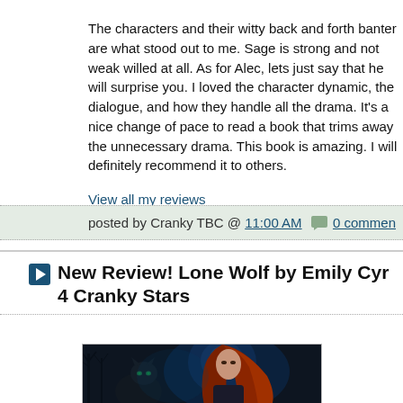The characters and their witty back and forth banter are what stood out to me. Sage is strong and not weak willed at all. As for Alec, lets just say that he will surprise you. I loved the character dynamic, the dialogue, and how they handle all the drama. It's a nice change of pace to read a book that trims away the unnecessary drama. This book is amazing. I will definitely recommend it to others.
View all my reviews
posted by Cranky TBC @ 11:00 AM   0 comments
New Review! Lone Wolf by Emily Cyr 4 Cranky Stars
[Figure (photo): Book cover image showing a woman with long red hair and a dark wolf against a blue moonlit night sky with bare trees]